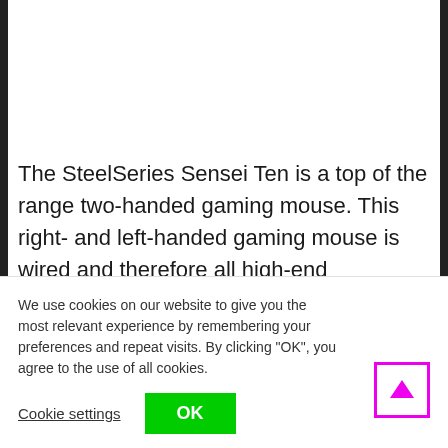The SteelSeries Sensei Ten is a top of the range two-handed gaming mouse. This right- and left-handed gaming mouse is wired and therefore all high-end technology is in the mouse itself. The mouse is highly appreciated among gamers, and that is not without reason: the game mouse has 18,000 dpi for very accurate, 1:1 tracking. An additional advantage is the tilt tracking, which allows you to enjoy advanced stability during more
We use cookies on our website to give you the most relevant experience by remembering your preferences and repeat visits. By clicking "OK", you agree to the use of all cookies.
Cookie settings
OK